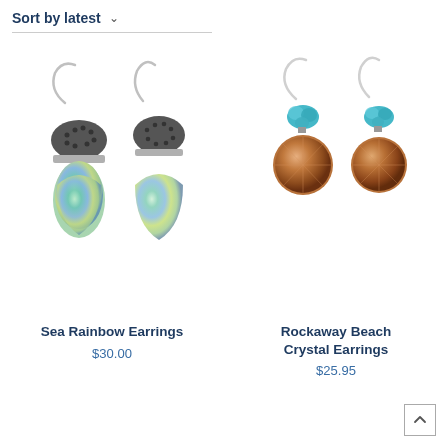Sort by latest
[Figure (photo): Sea Rainbow Earrings - two teardrop-shaped earrings with iridescent abalone shell bottom and dark dotted silver cap top, with silver hook wires]
Sea Rainbow Earrings
$30.00
[Figure (photo): Rockaway Beach Crystal Earrings - two earrings with a round amber/brown crystal bottom and a small turquoise crystal cluster on top, with silver hook wires]
Rockaway Beach Crystal Earrings
$25.95